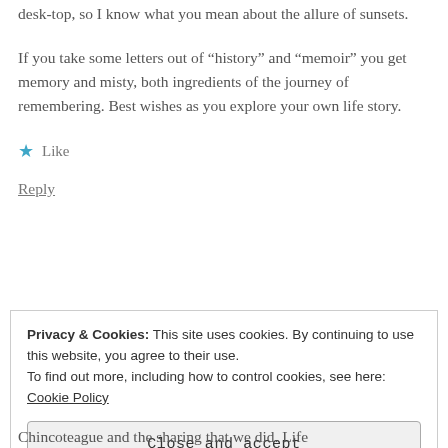desk-top, so I know what you mean about the allure of sunsets.
If you take some letters out of “history” and “memoir” you get memory and misty, both ingredients of the journey of remembering. Best wishes as you explore your own life story.
★ Like
Reply
Privacy & Cookies: This site uses cookies. By continuing to use this website, you agree to their use.
To find out more, including how to control cookies, see here: Cookie Policy
Close and accept
Chincoteague and the sharing that we did. Life